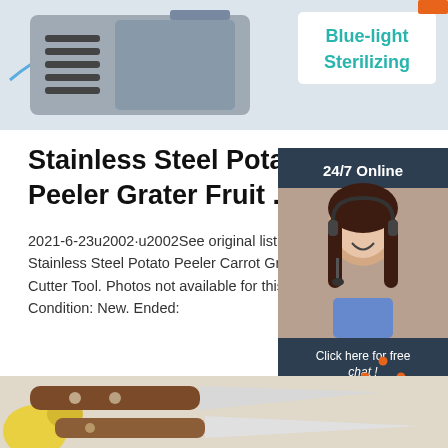[Figure (photo): Top section showing a device with grilles and blue-light sterilizing label on the right]
Stainless Steel Potato Peeler Grater Fruit ...
2021-6-23u2002·u2002See original listing for Stainless Steel Potato Peeler Carrot Grater Vegetable Cutter Tool. Photos not available for this variation. Condition: New. Ended:
[Figure (photo): 24/7 Online chat widget with customer service representative photo, 'Click here for free chat!' text and QUOTATION button]
Get Price
[Figure (other): TOP navigation icon with orange dots and text]
[Figure (photo): Bottom image showing kitchen knives with wooden handles on a light surface]